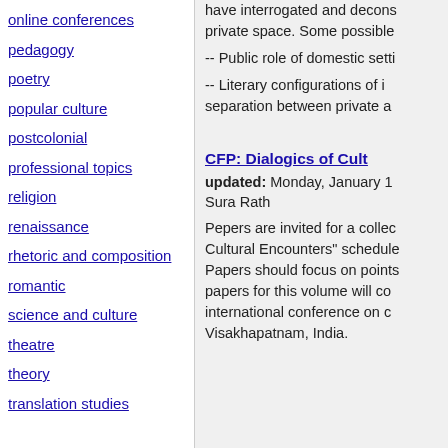online conferences
pedagogy
poetry
popular culture
postcolonial
professional topics
religion
renaissance
rhetoric and composition
romantic
science and culture
theatre
theory
translation studies
have interrogated and decons... private space. Some possible
-- Public role of domestic setti
-- Literary configurations of i... separation between private a
CFP: Dialogics of Cult
updated: Monday, January 1
Sura Rath
Pepers are invited for a collec... Cultural Encounters" schedule... Papers should focus on points... papers for this volume will co... international conference on c... Visakhapatnam, India.